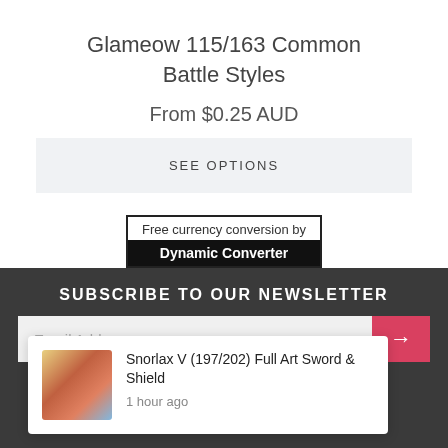Glameow 115/163 Common Battle Styles
From $0.25 AUD
SEE OPTIONS
[Figure (other): Free currency conversion by Dynamic Converter widget with black and white styling]
SUBSCRIBE TO OUR NEWSLETTER
Email Address
[Figure (other): Notification popup: Snorlax V (197/202) Full Art Sword & Shield, 1 hour ago, with card thumbnail]
ivacy Policy